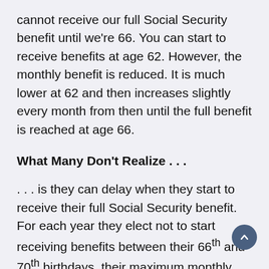cannot receive our full Social Security benefit until we're 66. You can start to receive benefits at age 62. However, the monthly benefit is reduced. It is much lower at 62 and then increases slightly every month from then until the full benefit is reached at age 66.
What Many Don't Realize . . .
. . . is they can delay when they start to receive their full Social Security benefit.  For each year they elect not to start receiving benefits between their 66th and 70th birthdays, their maximum monthly benefit increases by 8%. If they elect not to start their benefits until they're 70, their monthly benefit will be 32% higher than it would